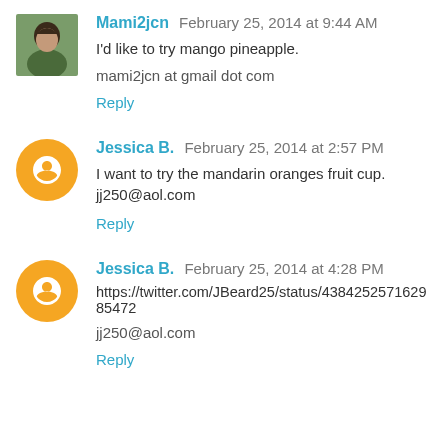Mami2jcn  February 25, 2014 at 9:44 AM
I'd like to try mango pineapple.
mami2jcn at gmail dot com
Reply
Jessica B.  February 25, 2014 at 2:57 PM
I want to try the mandarin oranges fruit cup. jj250@aol.com
Reply
Jessica B.  February 25, 2014 at 4:28 PM
https://twitter.com/JBeard25/status/438425257162985472
jj250@aol.com
Reply